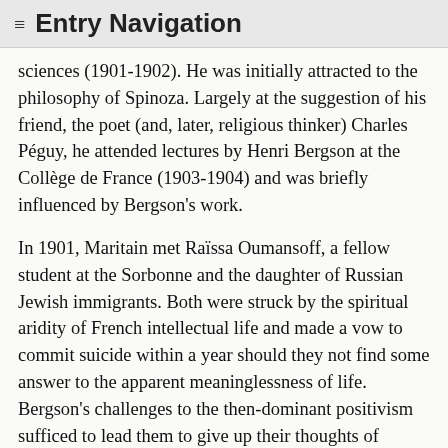≡ Entry Navigation
sciences (1901-1902). He was initially attracted to the philosophy of Spinoza. Largely at the suggestion of his friend, the poet (and, later, religious thinker) Charles Péguy, he attended lectures by Henri Bergson at the Collège de France (1903-1904) and was briefly influenced by Bergson's work.
In 1901, Maritain met Raïssa Oumansoff, a fellow student at the Sorbonne and the daughter of Russian Jewish immigrants. Both were struck by the spiritual aridity of French intellectual life and made a vow to commit suicide within a year should they not find some answer to the apparent meaninglessness of life. Bergson's challenges to the then-dominant positivism sufficed to lead them to give up their thoughts of suicide, and Jacques and Raïssa married in 1904. Soon thereafter, through the influence of the writer Léon Bloy, both Maritains sought baptism in the Roman Catholic Church (1906).
Maritain received his agrégation in philosophy in 1905 and, late in 1906, Jacques and Raïssa left for Heidelberg,